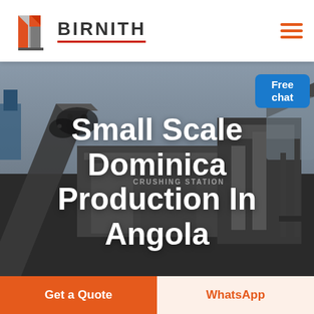[Figure (logo): Birnith company logo with orange/red building icon and brand name BIRNITH in dark grey letters with red underline]
[Figure (photo): Industrial crushing station machinery in greyscale with conveyor belts and aggregate material, outdoor industrial setting]
Small Scale Dominica Production In Angola
Free chat
Get a Quote
WhatsApp